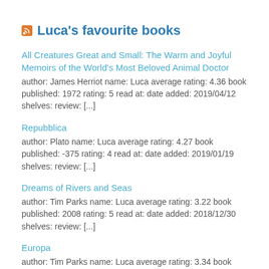Luca's favourite books
All Creatures Great and Small: The Warm and Joyful Memoirs of the World's Most Beloved Animal Doctor
author: James Herriot name: Luca average rating: 4.36 book published: 1972 rating: 5 read at: date added: 2019/04/12 shelves: review: [...]
Repubblica
author: Plato name: Luca average rating: 4.27 book published: -375 rating: 4 read at: date added: 2019/01/19 shelves: review: [...]
Dreams of Rivers and Seas
author: Tim Parks name: Luca average rating: 3.22 book published: 2008 rating: 5 read at: date added: 2018/12/30 shelves: review: [...]
Europa
author: Tim Parks name: Luca average rating: 3.34 book published: 1997 rating: 3 read at: date added: 2018/12/30 shelves: review: [...]